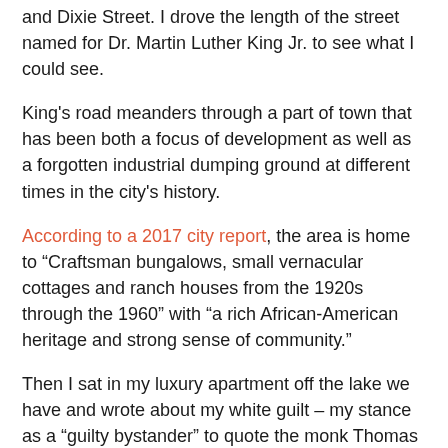and Dixie Street. I drove the length of the street named for Dr. Martin Luther King Jr. to see what I could see.
King's road meanders through a part of town that has been both a focus of development as well as a forgotten industrial dumping ground at different times in the city's history.
According to a 2017 city report, the area is home to “Craftsman bungalows, small vernacular cottages and ranch houses from the 1920s through the 1960” with “a rich African-American heritage and strong sense of community.”
Then I sat in my luxury apartment off the lake we have and wrote about my white guilt – my stance as a “guilty bystander” to quote the monk Thomas Merton, whom I drew from – musing on that interesting intersection in my town.
Now seeing that neighborhood in motion, seeing its people walk along its dirt streets and laugh on the porch of one of its